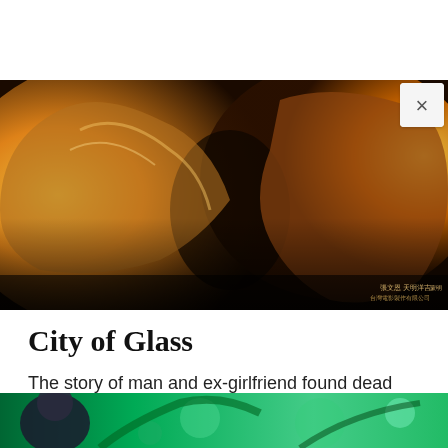[Figure (photo): Movie poster for City of Glass showing two people in close proximity with warm orange/golden lighting, Chinese text credits at the bottom of the image]
[Figure (other): Close button (×) overlaid on the top right of the movie poster image]
City of Glass
The story of man and ex-girlfriend found dead after a car crash and how their children come together to retell the story.
[Figure (photo): Partial bottom image showing a person and green background, likely another movie scene]